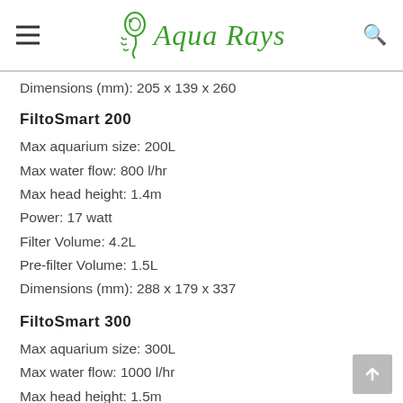AquaRays
Dimensions (mm): 205 x 139 x 260
FiltoSmart 200
Max aquarium size: 200L
Max water flow: 800 l/hr
Max head height: 1.4m
Power: 17 watt
Filter Volume: 4.2L
Pre-filter Volume: 1.5L
Dimensions (mm): 288 x 179 x 337
FiltoSmart 300
Max aquarium size: 300L
Max water flow: 1000 l/hr
Max head height: 1.5m
Power: 23 watt